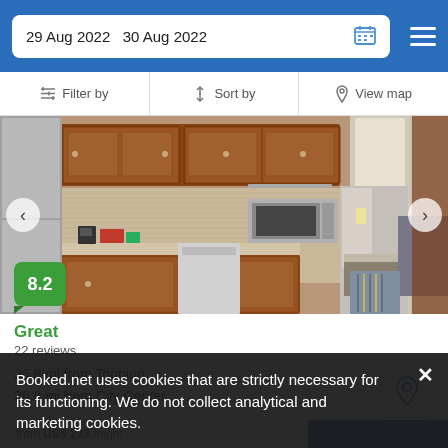29 Aug 2022  30 Aug 2022
Filter by  |  Sort by  |  View map
[Figure (photo): Hotel room kitchen with wooden cabinets, stainless steel microwave, dishwasher, granite countertop, and a view into the bedroom area. Score badge showing 8.2 in green.]
Great
22 reviews
26.8 mi from Topping
26.8 mi from City Center
Booked.net uses cookies that are strictly necessary for its functioning. We do not collect analytical and marketing cookies.
from US$ 233 /night